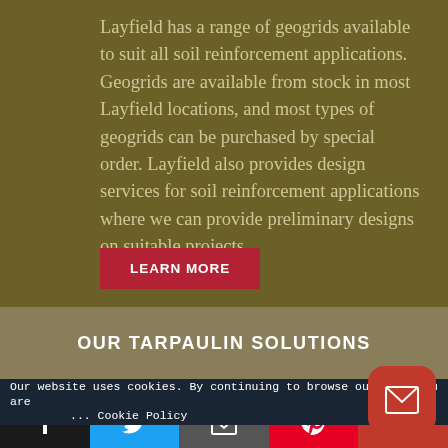Layfield has a range of geogrids available to suit all soil reinforcement applications. Geogrids are available from stock in most Layfield locations, and most types of geogrids can be purchased by special order. Layfield also provides design services for soil reinforcement applications where we can provide preliminary designs on suitable projects.
LEARN MORE
OUR TARPAULIN SOLUTIONS
Our website uses cookies. By continuing to browse our site you are ... Cookie Policy